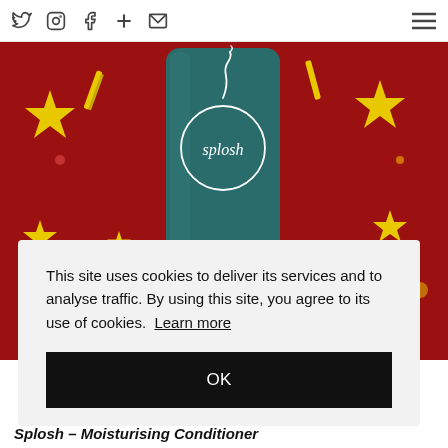Twitter | Instagram | Facebook | + | Email | Menu
[Figure (photo): A teal bottle of Splosh branded product showing 'ZERO PLASTIC WASTE' text on label with a circle logo, placed against a red festive fabric background with yellow stars and holiday decorations.]
This site uses cookies to deliver its services and to analyse traffic. By using this site, you agree to its use of cookies. Learn more
OK
Splosh – Moisturising Conditioner